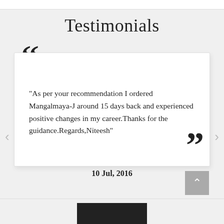Testimonials
"As per your recommendation I ordered Mangalmaya-J around 15 days back and experienced positive changes in my career.Thanks for the guidance.Regards,Niteesh"
10 Jul, 2016